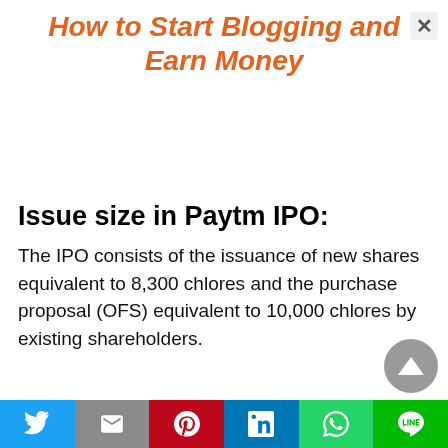How to Start Blogging and Earn Money
Issue size in Paytm IPO:
The IPO consists of the issuance of new shares equivalent to 8,300 chlores and the purchase proposal (OFS) equivalent to 10,000 chlores by existing shareholders.